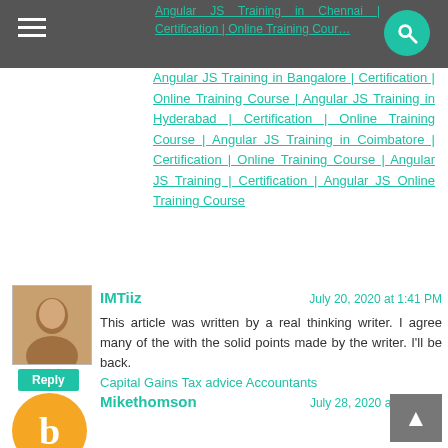Angular JS Training in Chennai | Certification | Online Training Course | Angular JS Training in Bangalore | Certification | Online Training Course | Angular JS Training in Hyderabad | Certification | Online Training Course | Angular JS Training in Coimbatore | Certification | Online Training Course | Angular JS Training | Certification | Angular JS Online Training Course
IMTiiz — July 20, 2020 at 1:41 PM
This article was written by a real thinking writer. I agree many of the with the solid points made by the writer. I'll be back. Capital Gains Tax advice Accountants
Mikethomson — July 28, 2020 at 9:24 AM
That is really nice to hear. thank you for the update and good luck. click here
deiva — September 3, 2020 at 1:07 AM
Thanks for taking time to share this tutorial admin, really helpful. Keep sharing more like this.